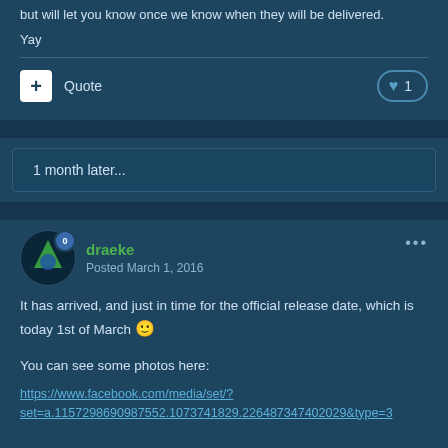but will let you know once we know when they will be delivered.
Yay
Quote
1 month later...
draeke
Posted March 1, 2016
It has arrived, and just in time for the official release date, which is today 1st of March 🙂
You can see some photos here:
https://www.facebook.com/media/set/?set=a.1157298690987552.1073741829.226487347402029&type=3